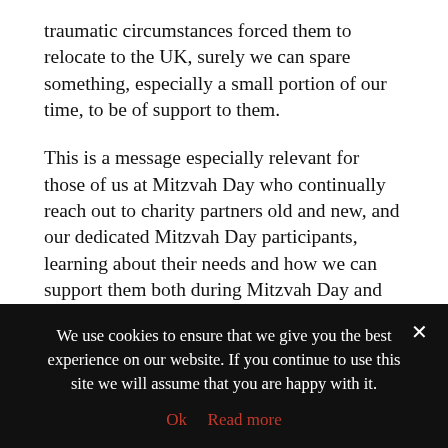traumatic circumstances forced them to relocate to the UK, surely we can spare something, especially a small portion of our time, to be of support to them.
This is a message especially relevant for those of us at Mitzvah Day who continually reach out to charity partners old and new, and our dedicated Mitzvah Day participants, learning about their needs and how we can support them both during Mitzvah Day and throughout the year.
Be sure to check out our available projects page and make sure you're registered for Mitzvah Day 2019, November 17th! https://mitzvahday.org.uk/get-involved/sign-up/
We use cookies to ensure that we give you the best experience on our website. If you continue to use this site we will assume that you are happy with it.
Ok  Read more